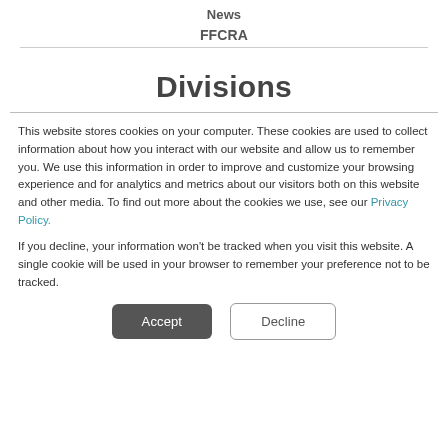News
FFCRA
Divisions
This website stores cookies on your computer. These cookies are used to collect information about how you interact with our website and allow us to remember you. We use this information in order to improve and customize your browsing experience and for analytics and metrics about our visitors both on this website and other media. To find out more about the cookies we use, see our Privacy Policy.
If you decline, your information won't be tracked when you visit this website. A single cookie will be used in your browser to remember your preference not to be tracked.